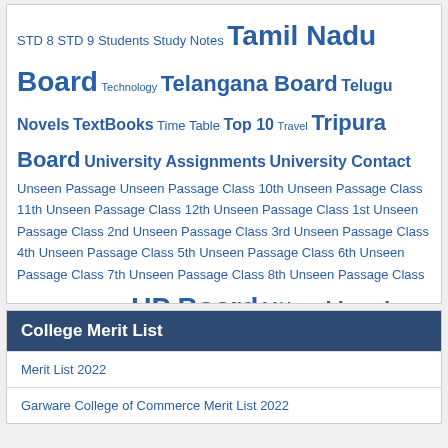STD 8 STD 9 Students Study Notes Tamil Nadu Board Technology Telangana Board Telugu Novels TextBooks Time Table Top 10 Travel Tripura Board University Assignments University Contact Unseen Passage Unseen Passage Class 10th Unseen Passage Class 11th Unseen Passage Class 12th Unseen Passage Class 1st Unseen Passage Class 2nd Unseen Passage Class 3rd Unseen Passage Class 4th Unseen Passage Class 5th Unseen Passage Class 6th Unseen Passage Class 7th Unseen Passage Class 8th Unseen Passage Class 9th Unseen Poems UP Board Uttarakhand Board Veda Vijayabheri Plus One Notes Vijayabheri Plus Two Notes Vijayabheri SSLC Notes Viva Q&A WBBSE [Bengali text content]
College Merit List
Merit List 2022
Garware College of Commerce Merit List 2022